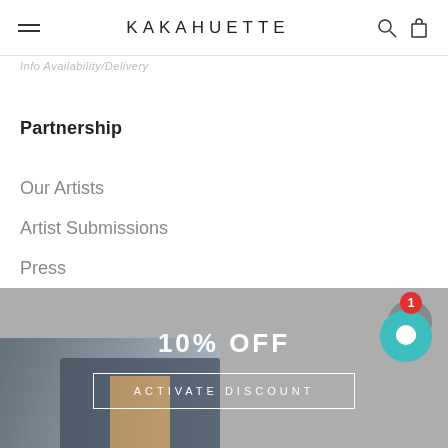KAKAHUETTE
Info Availability/Delivery
Partnership
Our Artists
Artist Submissions
Press
Terms of Service
Refund policy
10% OFF
ACTIVATE DISCOUNT